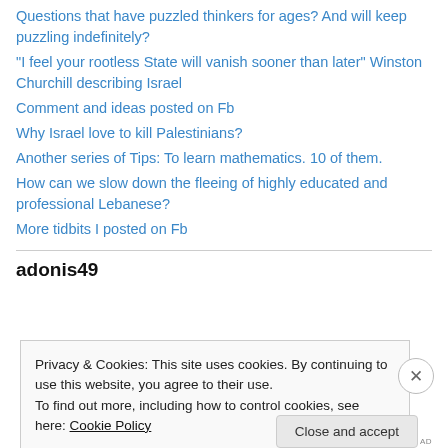Questions that have puzzled thinkers for ages? And will keep puzzling indefinitely?
“I feel your rootless State will vanish sooner than later” Winston Churchill describing Israel
Comment and ideas posted on Fb
Why Israel love to kill Palestinians?
Another series of Tips: To learn mathematics. 10 of them.
How can we slow down the fleeing of highly educated and professional Lebanese?
More tidbits I posted on Fb
adonis49
Privacy & Cookies: This site uses cookies. By continuing to use this website, you agree to their use.
To find out more, including how to control cookies, see here: Cookie Policy
Close and accept